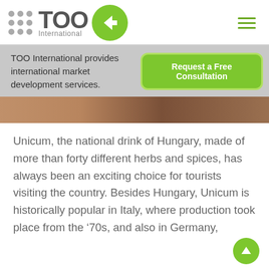[Figure (logo): TOO International logo with dot grid, bold text TOO, green circle with left-pointing arrow, and 'International' subtitle]
[Figure (infographic): Hamburger menu icon (three horizontal green lines) in top right corner]
TOO International provides international market development services.
[Figure (other): Green button labeled 'Request a Free Consultation']
[Figure (photo): Partial photo strip showing what appears to be a person, brown/tan tones]
Unicum, the national drink of Hungary, made of more than forty different herbs and spices, has always been an exciting choice for tourists visiting the country. Besides Hungary, Unicum is historically popular in Italy, where production took place from the ‘70s, and also in Germany,